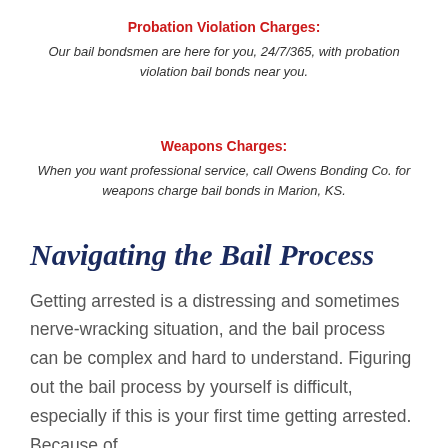Probation Violation Charges:
Our bail bondsmen are here for you, 24/7/365, with probation violation bail bonds near you.
Weapons Charges:
When you want professional service, call Owens Bonding Co. for weapons charge bail bonds in Marion, KS.
Navigating the Bail Process
Getting arrested is a distressing and sometimes nerve-wracking situation, and the bail process can be complex and hard to understand. Figuring out the bail process by yourself is difficult, especially if this is your first time getting arrested. Because of